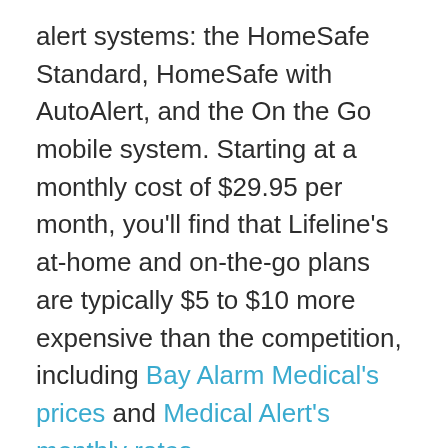alert systems: the HomeSafe Standard, HomeSafe with AutoAlert, and the On the Go mobile system. Starting at a monthly cost of $29.95 per month, you'll find that Lifeline's at-home and on-the-go plans are typically $5 to $10 more expensive than the competition, including Bay Alarm Medical's prices and Medical Alert's monthly rates.
However, in our Lifeline review, we found the extra costs to be well worth it, as their systems are user-friendly, simple, and offer reliable protection without unnecessary bells and whistles. We'll cover everything you need to know about Lifeline below, from